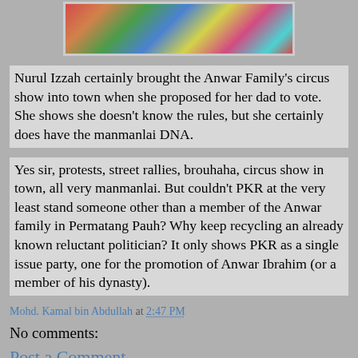[Figure (photo): A group photo of many people in colorful festive costumes, partially visible at top of page]
Nurul Izzah certainly brought the Anwar Family's circus show into town when she proposed for her dad to vote. She shows she doesn't know the rules, but she certainly does have the manmanlai DNA.
Yes sir, protests, street rallies, brouhaha, circus show in town, all very manmanlai. But couldn't PKR at the very least stand someone other than a member of the Anwar family in Permatang Pauh? Why keep recycling an already known reluctant politician? It only shows PKR as a single issue party, one for the promotion of Anwar Ibrahim (or a member of his dynasty).
Mohd. Kamal bin Abdullah at 2:47 PM
No comments:
Post a Comment
Note: Only a member of this blog may post a